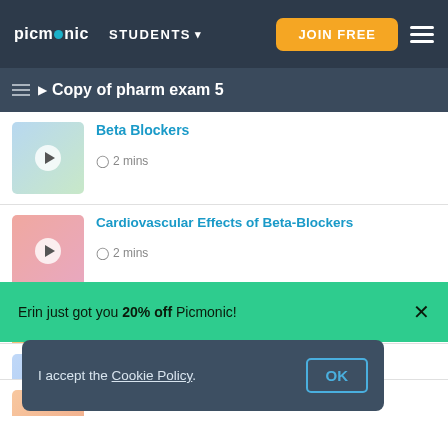[Figure (screenshot): Picmonic navigation bar with logo, STUDENTS dropdown, JOIN FREE button, hamburger menu]
Copy of pharm exam 5
Beta Blockers
2 mins
Cardiovascular Effects of Beta-Blockers
2 mins
Systemic Effects of Beta-Blockers
Erin just got you 20% off Picmonic!
Epinephrine (Adrenaline)
I accept the Cookie Policy.
OK
Ephedrine